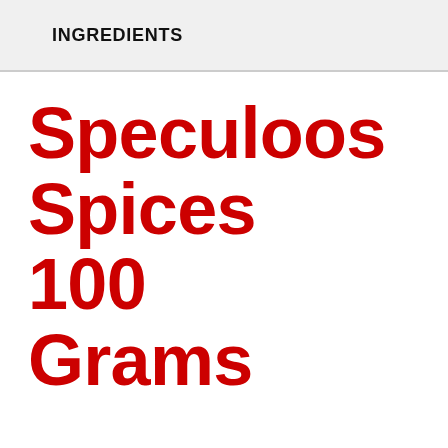INGREDIENTS
Speculoos Spices 100 Grams Nutrition Label
October 31, 2017  By  Anna  Leave a Comment
[Figure (other): Nutrition Facts label showing serving size (100g)]